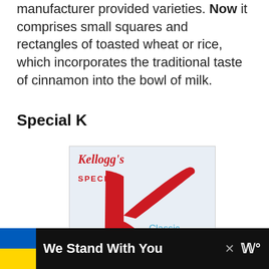manufacturer provided varieties. Now it comprises small squares and rectangles of toasted wheat or rice, which incorporates the traditional taste of cinnamon into the bowl of milk.
Special K
[Figure (photo): Kellogg's Special K Classic cereal box with a large red stylized K logo. The box has a light blue background. The word 'SPECIAL' appears in red above the K, 'Kellogg's' in cursive red at top left, and 'Classic' in light blue text to the right of the K. At the bottom is a partial view of a blue bowl with cereal.]
We Stand With You